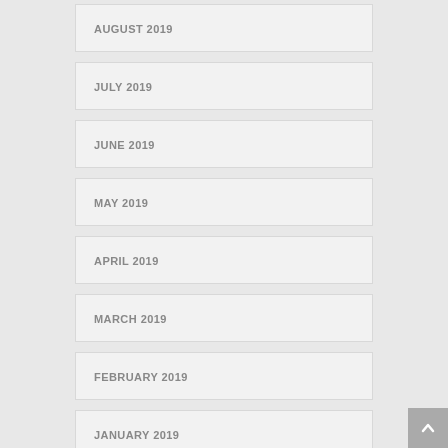AUGUST 2019
JULY 2019
JUNE 2019
MAY 2019
APRIL 2019
MARCH 2019
FEBRUARY 2019
JANUARY 2019
DECEMBER 2018